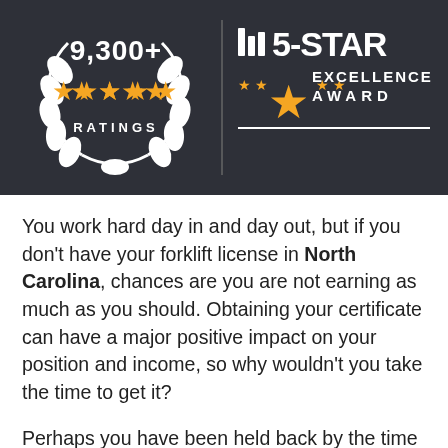[Figure (logo): Dark banner with two award badges: left shows '9,300+ ★★★★★ RATINGS' inside a laurel wreath; right shows '5-STAR EXCELLENCE AWARD' with stars and vertical bar graphic.]
You work hard day in and day out, but if you don't have your forklift license in North Carolina, chances are you are not earning as much as you should. Obtaining your certificate can have a major positive impact on your position and income, so why wouldn't you take the time to get it?
Perhaps you have been held back by the time constraints of trying to find a class that you can